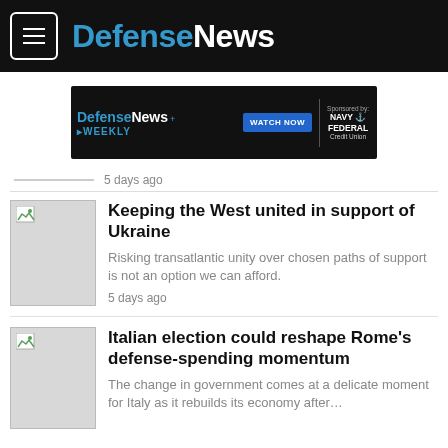DefenseNews
[Figure (screenshot): DefenseNews Weekly advertisement banner with WATCH NOW button, sponsored by Navy Federal Credit Union]
5 days ago
[Figure (photo): Thumbnail image placeholder for article about Ukraine]
Keeping the West united in support of Ukraine
Risking transatlantic unity over chosen paths of support is not an option we can afford.
5 days ago
[Figure (photo): Thumbnail image placeholder for article about Italian election]
Italian election could reshape Rome's defense-spending momentum
The change in government comes at a delicate moment for Italy as it rebuilds its economy after…